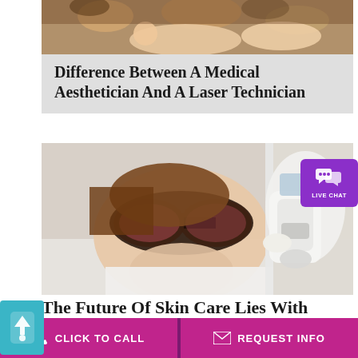[Figure (photo): Top banner photo showing a medical aesthetician performing a facial treatment on a patient]
Difference Between A Medical Aesthetician And A Laser Technician
[Figure (photo): Woman receiving laser skin care treatment, wearing protective dark goggles, lying down while a technician in white gloves holds a laser device near her face. A purple Live Chat badge appears in the top-right corner of the image.]
The Future Of Skin Care Lies With